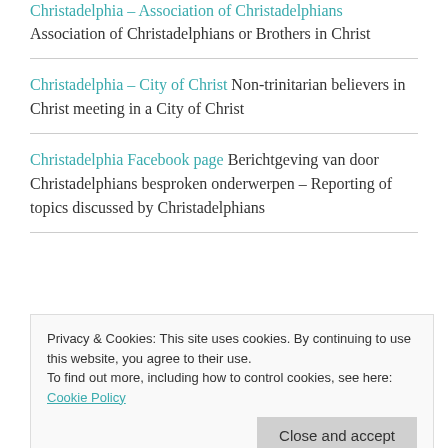Christadelphia – Association of Christadelphians Association of Christadelphians or Brothers in Christ
Christadelphia – City of Christ Non-trinitarian believers in Christ meeting in a City of Christ
Christadelphia Facebook page Berichtgeving van door Christadelphians besproken onderwerpen – Reporting of topics discussed by Christadelphians
Privacy & Cookies: This site uses cookies. By continuing to use this website, you agree to their use. To find out more, including how to control cookies, see here: Cookie Policy
Christadelphian Bijbelvorsers blogspot Ancient